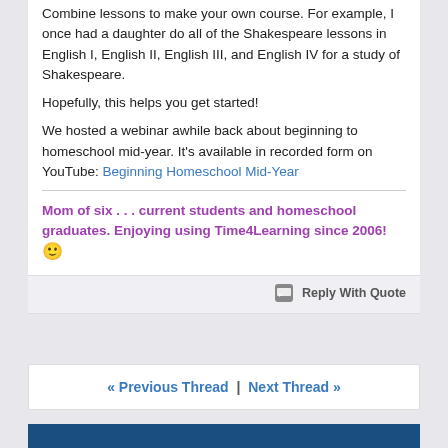Combine lessons to make your own course. For example, I once had a daughter do all of the Shakespeare lessons in English I, English II, English III, and English IV for a study of Shakespeare.

Hopefully, this helps you get started!

We hosted a webinar awhile back about beginning to homeschool mid-year. It's available in recorded form on YouTube: Beginning Homeschool Mid-Year
Mom of six . . . current students and homeschool graduates. Enjoying using Time4Learning since 2006! 🙂
Reply With Quote
« Previous Thread | Next Thread »